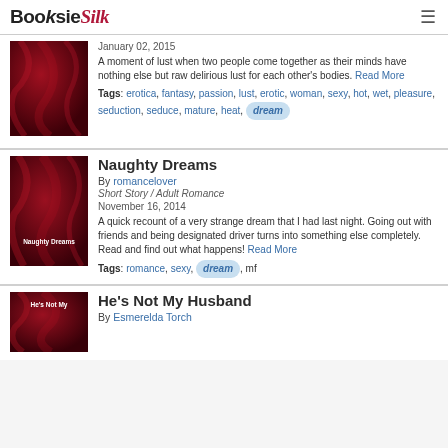BooksiesilK
January 02, 2015
A moment of lust when two people come together as their minds have nothing else but raw delirious lust for each other's bodies. Read More
Tags: erotica, fantasy, passion, lust, erotic, woman, sexy, hot, wet, pleasure, seduction, seduce, mature, heat, dream
Naughty Dreams
By romancelover
Short Story / Adult Romance
November 16, 2014
A quick recount of a very strange dream that I had last night. Going out with friends and being designated driver turns into something else completely. Read and find out what happens! Read More
Tags: romance, sexy, dream, mf
He's Not My Husband
By Esmerelda Torch